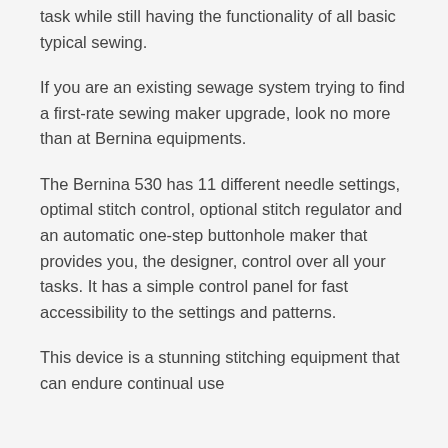task while still having the functionality of all basic typical sewing.
If you are an existing sewage system trying to find a first-rate sewing maker upgrade, look no more than at Bernina equipments.
The Bernina 530 has 11 different needle settings, optimal stitch control, optional stitch regulator and an automatic one-step buttonhole maker that provides you, the designer, control over all your tasks. It has a simple control panel for fast accessibility to the settings and patterns.
This device is a stunning stitching equipment that can endure continual use